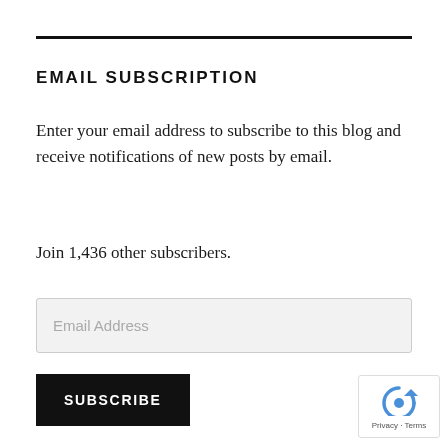EMAIL SUBSCRIPTION
Enter your email address to subscribe to this blog and receive notifications of new posts by email.
Join 1,436 other subscribers.
Email Address
SUBSCRIBE